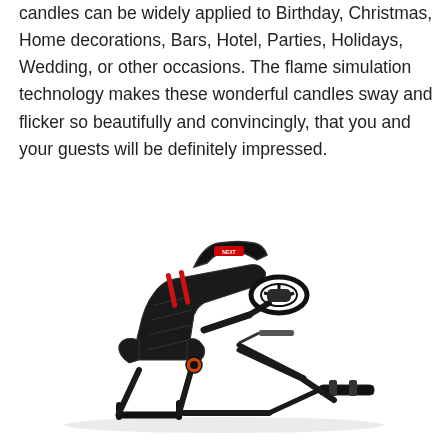candles can be widely applied to Birthday, Christmas, Home decorations, Bars, Hotel, Parties, Holidays, Wedding, or other occasions. The flame simulation technology makes these wonderful candles sway and flicker so beautifully and convincingly, that you and your guests will be definitely impressed.
[Figure (photo): A black racing simulator cockpit / gaming chair rig with a reclined seat, roll cage headrest structure, steering wheel mount arm, and pedal platform, photographed on a white background.]